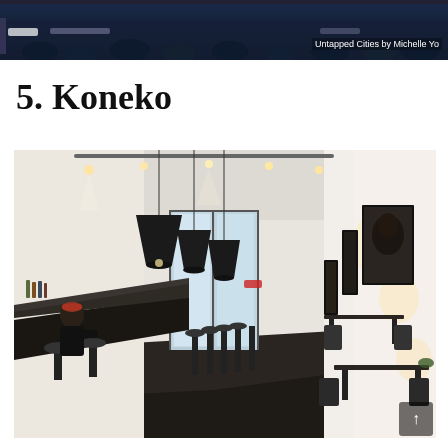[Figure (photo): Header photo showing a dark blue-tinted audience or crowd scene with overlaid navigation UI elements and credit text 'Untapped Cities by Michelle Yo']
5. Koneko
[Figure (photo): Interior photo of Koneko restaurant/bar showing a long narrow space with black pendant lights, a bar counter on the left with a bartender wearing a red hat, bar stools, dark tables and chairs on the right, artwork/photos of cats on the right wall, and glass doors at the far end letting in daylight. A scroll-up arrow button is visible in the bottom right corner.]